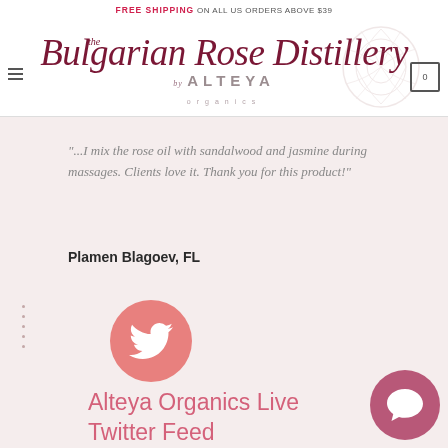FREE SHIPPING ON ALL US ORDERS ABOVE $39
[Figure (logo): The Bulgarian Rose Distillery by Alteya Organics logo with rose illustration]
"...I mix the rose oil with sandalwood and jasmine during massages. Clients love it. Thank you for this product!"
Plamen Blagoev, FL
[Figure (illustration): Twitter bird logo in a pink/salmon circle]
Alteya Organics Live Twitter Feed